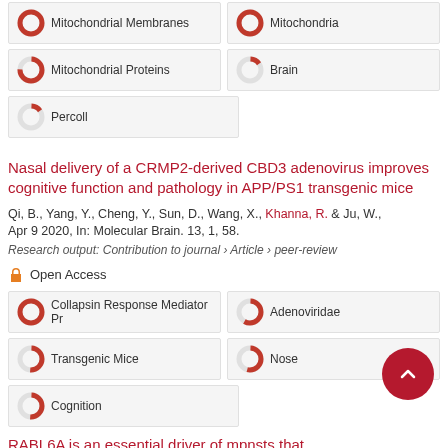Mitochondrial Membranes
Mitochondria
Mitochondrial Proteins
Brain
Percoll
Nasal delivery of a CRMP2-derived CBD3 adenovirus improves cognitive function and pathology in APP/PS1 transgenic mice
Qi, B., Yang, Y., Cheng, Y., Sun, D., Wang, X., Khanna, R. & Ju, W., Apr 9 2020, In: Molecular Brain. 13, 1, 58.
Research output: Contribution to journal › Article › peer-review
Open Access
Collapsin Response Mediator Pr
Adenoviridae
Transgenic Mice
Nose
Cognition
RABL6A is an essential driver of mpnsts that